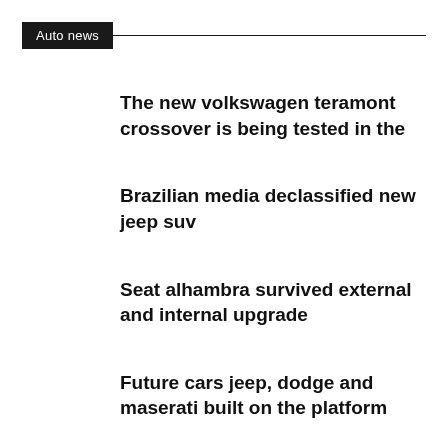Auto news
The new volkswagen teramont crossover is being tested in the
Brazilian media declassified new jeep suv
Seat alhambra survived external and internal upgrade
Future cars jeep, dodge and maserati built on the platform